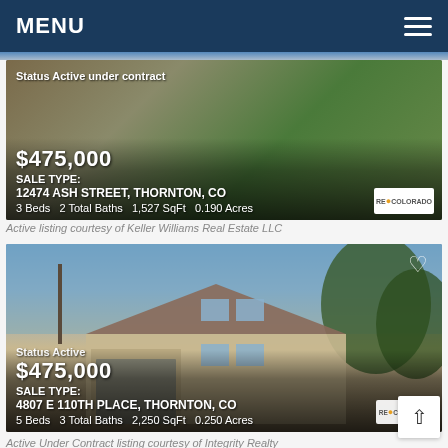MENU
[Figure (photo): Real estate listing photo of a residential home at 12474 Ash Street, Thornton, CO. Status: Active under contract. Price: $475,000. 3 Beds, 2 Total Baths, 1,527 SqFt, 0.190 Acres.]
Active listing courtesy of Keller Williams Real Estate LLC
[Figure (photo): Real estate listing photo of a two-story residential home at 4807 E 110th Place, Thornton, CO. Status: Active. Price: $475,000. 5 Beds, 3 Total Baths, 2,250 SqFt, 0.250 Acres.]
Active Under Contract listing courtesy of Integrity Realty Management Llc